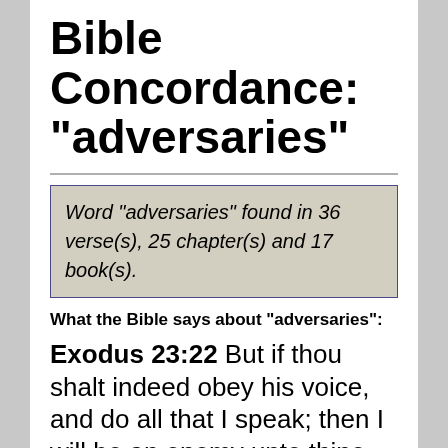Bible Concordance: "adversaries"
Word "adversaries" found in 36 verse(s), 25 chapter(s) and 17 book(s).
What the Bible says about "adversaries":
Exodus 23:22  But if thou shalt indeed obey his voice, and do all that I speak; then I will be an enemy unto thine enemies, and